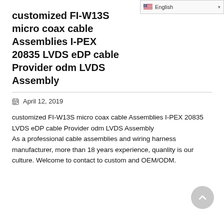[Figure (screenshot): Language selector dropdown showing English with a US flag icon and dropdown arrow]
customized FI-W13S micro coax cable Assemblies I-PEX 20835 LVDS eDP cable Provider odm LVDS Assembly
April 12, 2019
customized FI-W13S micro coax cable Assemblies I-PEX 20835 LVDS eDP cable Provider odm LVDS Assembly
As a professional cable assemblies and wiring harness manufacturer, more than 18 years experience, quanlity is our culture. Welcome to contact to custom and OEM/ODM.